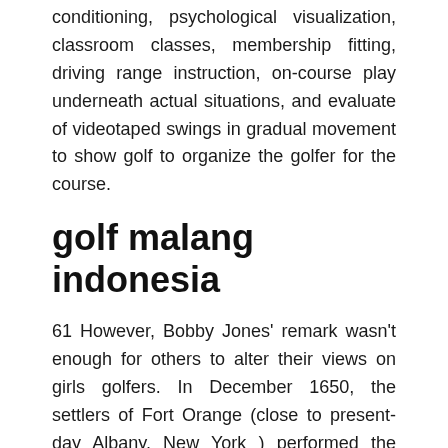conditioning, psychological visualization, classroom classes, membership fitting, driving range instruction, on-course play underneath actual situations, and evaluate of videotaped swings in gradual movement to show golf to organize the golfer for the course.
golf malang indonesia
61 However, Bobby Jones' remark wasn't enough for others to alter their views on girls golfers. In December 1650, the settlers of Fort Orange (close to present-day Albany, New York ) performed the primary recorded spherical of kolf (golf) in America. On a nine-hole course, two 9-gap rounds make up a normal recreation. Jacksonville Seashore Golf Membership gives an 18-hole course with seventy two-par always open to the general public.